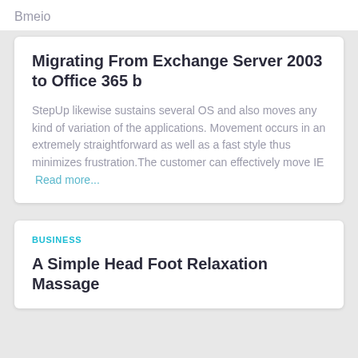Bmeio
Migrating From Exchange Server 2003 to Office 365 b
StepUp likewise sustains several OS and also moves any kind of variation of the applications. Movement occurs in an extremely straightforward as well as a fast style thus minimizes frustration.The customer can effectively move IE  Read more...
BUSINESS
A Simple Head Foot Relaxation Massage